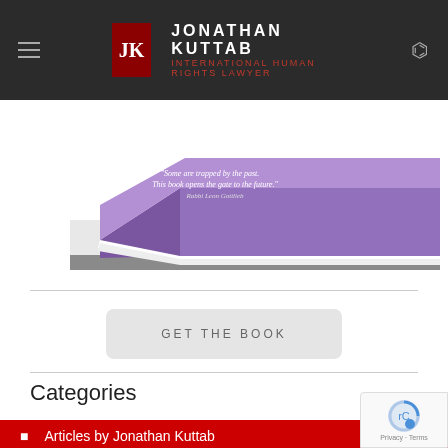Jonathan Kuttab - International Human Rights Lawyer
[Figure (photo): A purple book lying flat, showing its back cover with a quote: 'Some are trapped by the past. This book opens the gate to the future.' Rabbi Leon Gottlieb]
GET THE BOOK
Categories
Articles by Jonathan Kuttab
Events